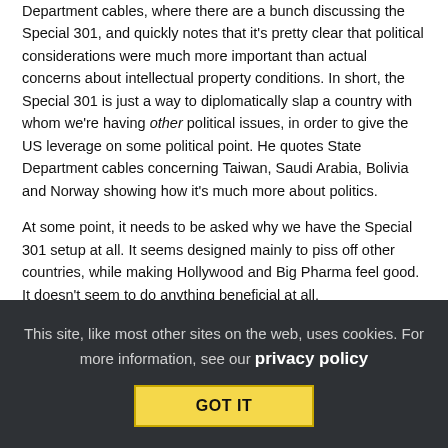Department cables, where there are a bunch discussing the Special 301, and quickly notes that it's pretty clear that political considerations were much more important than actual concerns about intellectual property conditions. In short, the Special 301 is just a way to diplomatically slap a country with whom we're having other political issues, in order to give the US leverage on some political point. He quotes State Department cables concerning Taiwan, Saudi Arabia, Bolivia and Norway showing how it's much more about politics.
At some point, it needs to be asked why we have the Special 301 setup at all. It seems designed mainly to piss off other countries, while making Hollywood and Big Pharma feel good. It doesn't seem to do anything beneficial at all.
Filed Under: copyright, diplomacy, evidence, impact, intellectual property, patents, politics, special 301, ustr
This site, like most other sites on the web, uses cookies. For more information, see our privacy policy
GOT IT